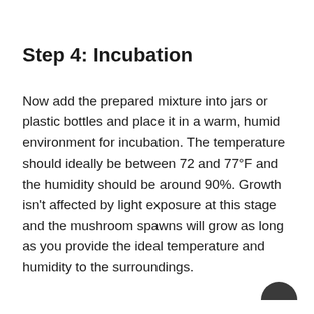Step 4: Incubation
Now add the prepared mixture into jars or plastic bottles and place it in a warm, humid environment for incubation. The temperature should ideally be between 72 and 77°F and the humidity should be around 90%. Growth isn't affected by light exposure at this stage and the mushroom spawns will grow as long as you provide the ideal temperature and humidity to the surroundings.
[Figure (illustration): Dark semicircle navigation arrow pointing right, partially visible at bottom-right corner of page]